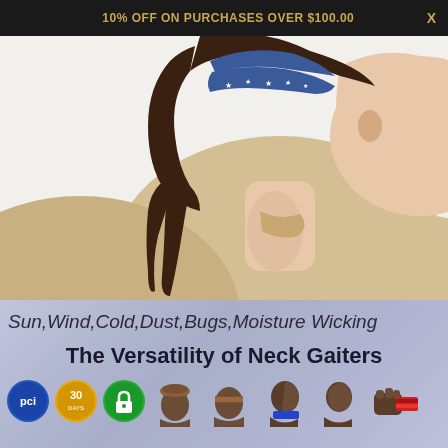10% OFF ON PURCHASES OVER $100.00  X
[Figure (photo): Side profile of a woman wearing a blue star-patterned bandana/neck gaiter on her head and a beige/khaki long-sleeve shirt, showing the gaiter worn as a headband]
Sun,Wind,Cold,Dust,Bugs,Moisture Wicking
The Versatility of Neck Gaiters
[Figure (illustration): Row of icons showing neck gaiter usage variations: person with gaiter as beanie, gaiter as headband, person profile with gaiter as scarf, plain person profile, fist with gaiter as wristband with red flag. Also three trust badge icons: PCI badge (blue circle), 30-day badge (yellow circle), and security lock badge (green circle).]